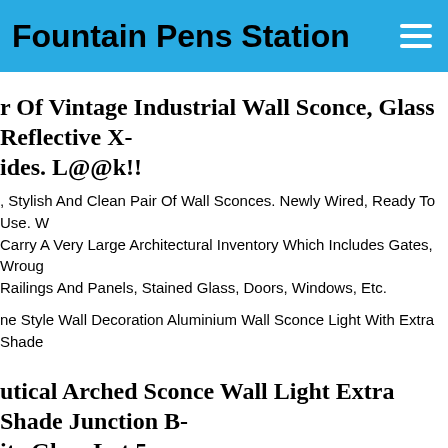Fountain Pens Station
r Of Vintage Industrial Wall Sconce, Glass Reflective X-ides. L@@k!!
, Stylish And Clean Pair Of Wall Sconces. Newly Wired, Ready To Use. W Carry A Very Large Architectural Inventory Which Includes Gates, Wroug Railings And Panels, Stained Glass, Doors, Windows, Etc.
ne Style Wall Decoration Aluminium Wall Sconce Light With Extra Shade
utical Arched Sconce Wall Light Extra Shade Junction B- ite Glass Lot 5
Condition. E Believe That All Disputes Can Be Settled By Proper munication.